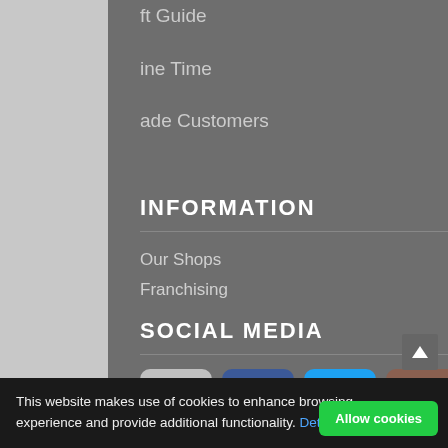ft Guide
ine Time
ade Customers
INFORMATION
Our Shops
Franchising
SOCIAL MEDIA
[Figure (screenshot): Social media icons: Freeindex (fr), Facebook (f), Twitter (bird), Instagram (camera)]
This website makes use of cookies to enhance browsing experience and provide additional functionality. Details
Allow cookies